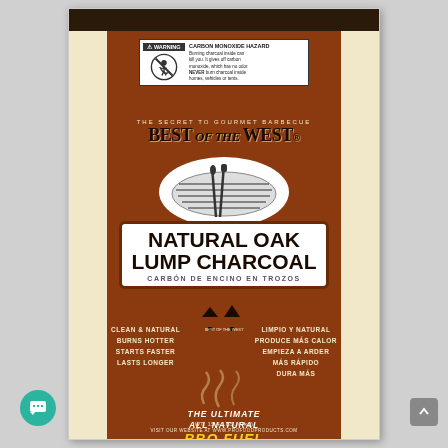[Figure (photo): Best of the West Natural Oak Lump Charcoal bag product photo. Brown paper bag with cream side panels and dark top strip. Features a warning label for carbon monoxide hazard at top, Best of the West brand logo with grill graphic, white oval with grill illustration, white banner with 'NATURAL OAK LUMP CHARCOAL' and 'CARBÓN DE ENCINO EN TROZOS', tree logo, feature bullet points in English and Spanish, smoke graphic, 'THE ULTIMATE ALL NATURAL BBQ FUEL' text, and weight 15.4 LBS (7kg) at bottom.]